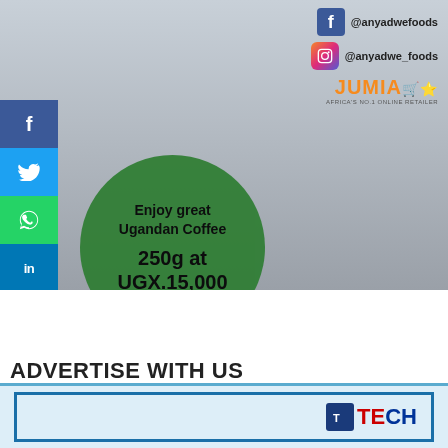[Figure (photo): Advertisement photo of a woman in a black t-shirt holding a coffee bag, with a green circle overlay showing 'Enjoy great Ugandan Coffee 250g at UGX.15,000'. Social media icons (Facebook, Instagram, Jumia) visible in top right. Social share buttons (Facebook, Twitter, WhatsApp, LinkedIn) on left side.]
Like 0
<
ADVERTISE WITH US
[Figure (logo): Partial view of a logo at the bottom of the page, appears to be a tech company logo with blue and red text]